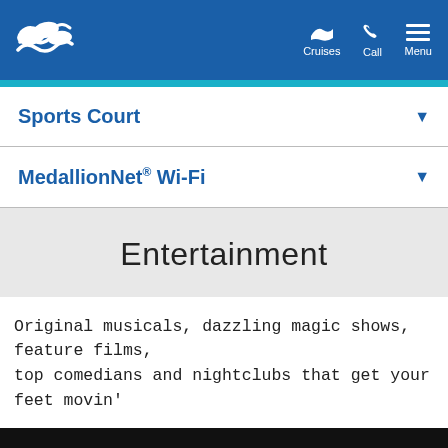Princess Cruises navigation header with logo, Cruises, Call, Menu
Sports Court
MedallionNet® Wi-Fi
Entertainment
Original musicals, dazzling magic shows, feature films, top comedians and nightclubs that get your feet movin'
We use cookies to offer you a better experience, analyze site traffic and serve targeted advertisements. By using this site, you consent to the use of cookies in accordance with our Privacy Notice
I Acknowledge